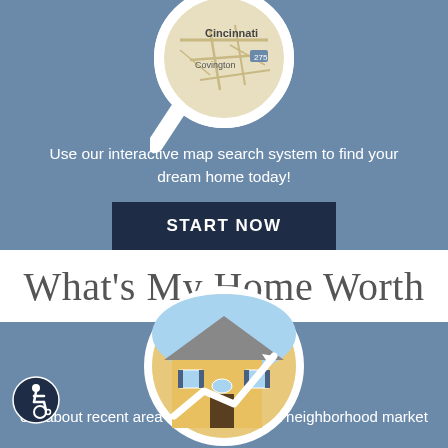[Figure (illustration): A magnifying glass over a circular map showing Cincinnati and Covington area]
Use our interactive map search system to find your dream home today!
START NOW
What's My Home Worth
[Figure (illustration): A circular photo of a yellow house with a white upward-trending arrow overlaid, symbolizing home value increase]
[Figure (illustration): Accessibility icon (wheelchair symbol) in a dark circle]
out about recent area sales and current neighborhood market trends.